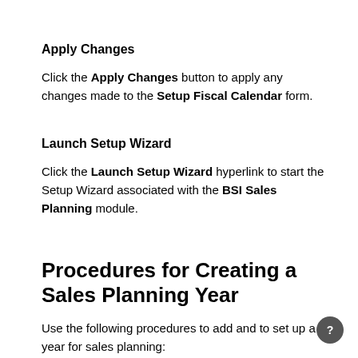Apply Changes
Click the Apply Changes button to apply any changes made to the Setup Fiscal Calendar form.
Launch Setup Wizard
Click the Launch Setup Wizard hyperlink to start the Setup Wizard associated with the BSI Sales Planning module.
Procedures for Creating a Sales Planning Year
Use the following procedures to add and to set up a year for sales planning: